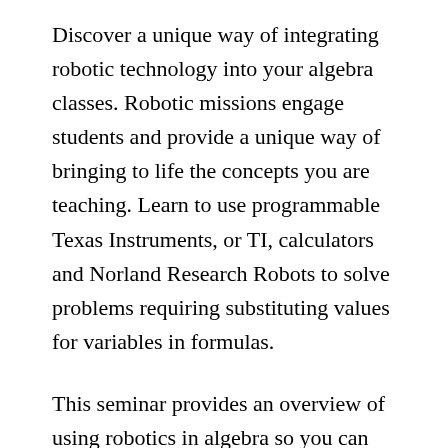Discover a unique way of integrating robotic technology into your algebra classes. Robotic missions engage students and provide a unique way of bringing to life the concepts you are teaching. Learn to use programmable Texas Instruments, or TI, calculators and Norland Research Robots to solve problems requiring substituting values for variables in formulas.
This seminar provides an overview of using robotics in algebra so you can make an informed decision about purchasing the robots and other equipment. You do not need to have a Norland Research Robot or programmable TI calculator to participate in this seminar, or know how to program the calculator.